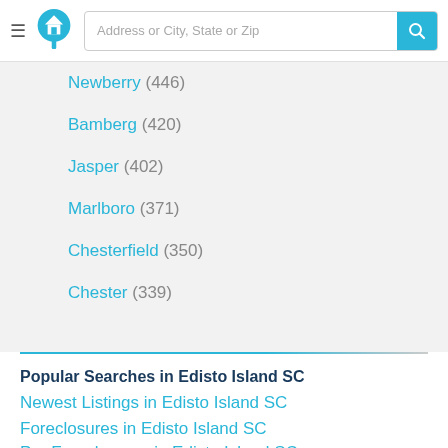[Figure (logo): Home search website logo — blue circle with white house/location pin icon]
Address or City, State or Zip
Newberry (446)
Bamberg (420)
Jasper (402)
Marlboro (371)
Chesterfield (350)
Chester (339)
Popular Searches in Edisto Island SC
Newest Listings in Edisto Island SC
Foreclosures in Edisto Island SC
Pre Foreclosures in Edisto Island SC